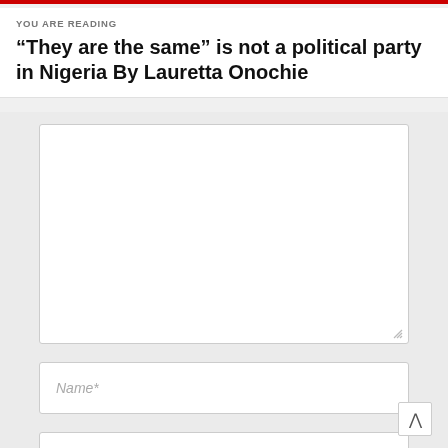YOU ARE READING
“They are the same” is not a political party in Nigeria By Lauretta Onochie
[Figure (screenshot): Web article comment form with a large textarea for comments, a Name* input field, and an Email* input field, on a light grey background.]